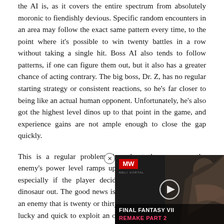the AI is, as it covers the entire spectrum from absolutely moronic to fiendishly devious. Specific random encounters in an area may follow the exact same pattern every time, to the point where it's possible to win twenty battles in a row without taking a single hit. Boss AI also tends to follow patterns, if one can figure them out, but it also has a greater chance of acting contrary. The big boss, Dr. Z, has no regular starting strategy or consistent reactions, so he's far closer to being like an actual human opponent. Unfortunately, he's also got the highest level dinos up to that point in the game, and experience gains are not ample enough to close the gap quickly.
This is a regular problem throughout the game, as the enemy's power level ramps up far faster than the player's, especially if the player decides to try and level a new dinosaur out. The good news is that it is possible to take out an enemy that is twenty or thirty levels higher if the player is lucky and quick to exploit an opening. The bad news is that the player is going to take out enemies twenty to thirty levels higher on a regular basis, especially if he or she decides to battle on through the post-game zones without doing
[Figure (screenshot): Video game advertisement overlay for Final Fantasy VII Remake Part 2, featuring a dark background with a character illustration on the right, MW logo in red on the upper left, and a play button in the center. The title 'FINAL FANTASY VII REMAKE PART 2' appears at the bottom with 'REMAKE PART 2' in pink/magenta text.]